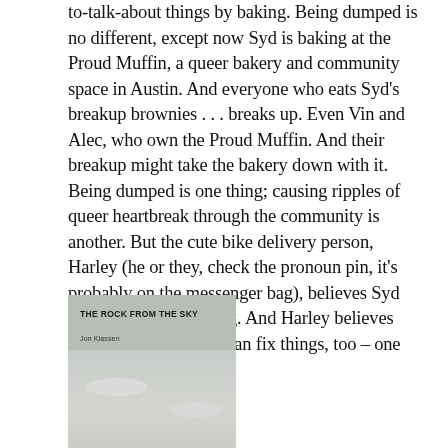to-talk-about things by baking. Being dumped is no different, except now Syd is baking at the Proud Muffin, a queer bakery and community space in Austin. And everyone who eats Syd's breakup brownies . . . breaks up. Even Vin and Alec, who own the Proud Muffin. And their breakup might take the bakery down with it. Being dumped is one thing; causing ripples of queer heartbreak through the community is another. But the cute bike delivery person, Harley (he or they, check the pronoun pin, it's probably on the messenger bag), believes Syd about the magic baking. And Harley believes Syd's magical baking can fix things, too – one recipe at a time.
[Figure (illustration): Book cover of 'The Rock from the Sky' by Jon Klassen, showing a grey/beige sky with subtle cloud shapes.]